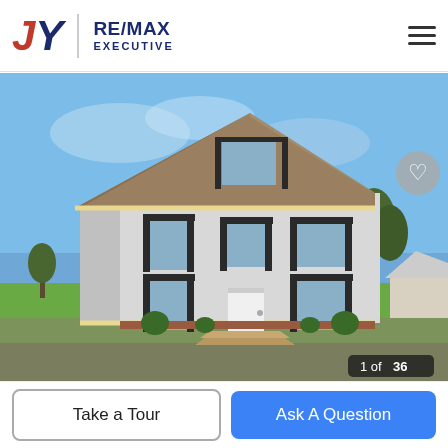JY RE/MAX EXECUTIVE
[Figure (photo): Exterior photo of a two-story farmhouse-style home with gray/white vinyl siding, dark shutters, metal roof, wooden front porch steps, green lawn, blue sky. Trees and a secondary structure visible to the right.]
1 of 36
Take a Tour
Ask A Question